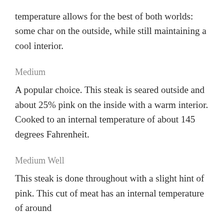temperature allows for the best of both worlds: some char on the outside, while still maintaining a cool interior.
Medium
A popular choice. This steak is seared outside and about 25% pink on the inside with a warm interior. Cooked to an internal temperature of about 145 degrees Fahrenheit.
Medium Well
This steak is done throughout with a slight hint of pink. This cut of meat has an internal temperature of around